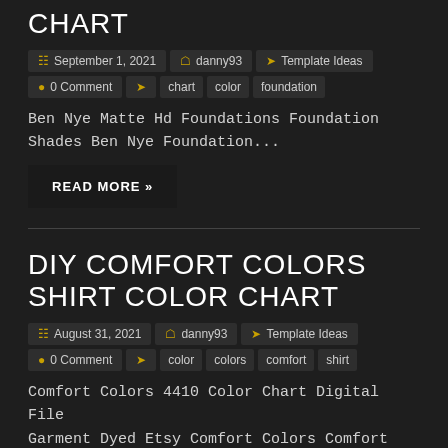CHART
September 1, 2021  danny93  Template Ideas  0 Comment  chart  color  foundation
Ben Nye Matte Hd Foundations Foundation Shades Ben Nye Foundation...
READ MORE »
DIY COMFORT COLORS SHIRT COLOR CHART
August 31, 2021  danny93  Template Ideas  0 Comment  color  colors  comfort  shirt
Comfort Colors 4410 Color Chart Digital File Garment Dyed Etsy Comfort Colors Comfort Colors Long Sleeve Color Chart...